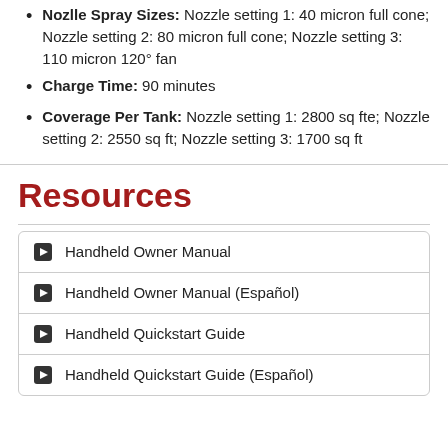Nozlle Spray Sizes: Nozzle setting 1: 40 micron full cone; Nozzle setting 2: 80 micron full cone; Nozzle setting 3: 110 micron 120° fan
Charge Time: 90 minutes
Coverage Per Tank: Nozzle setting 1: 2800 sq fte; Nozzle setting 2: 2550 sq ft; Nozzle setting 3: 1700 sq ft
Resources
Handheld Owner Manual
Handheld Owner Manual (Español)
Handheld Quickstart Guide
Handheld Quickstart Guide (Español)